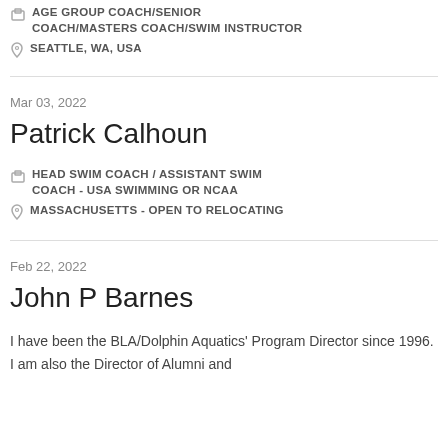AGE GROUP COACH/SENIOR COACH/MASTERS COACH/SWIM INSTRUCTOR
SEATTLE, WA, USA
Mar 03, 2022
Patrick Calhoun
HEAD SWIM COACH / ASSISTANT SWIM COACH - USA SWIMMING OR NCAA
MASSACHUSETTS - OPEN TO RELOCATING
Feb 22, 2022
John P Barnes
I have been the BLA/Dolphin Aquatics' Program Director since 1996. I am also the Director of Alumni and